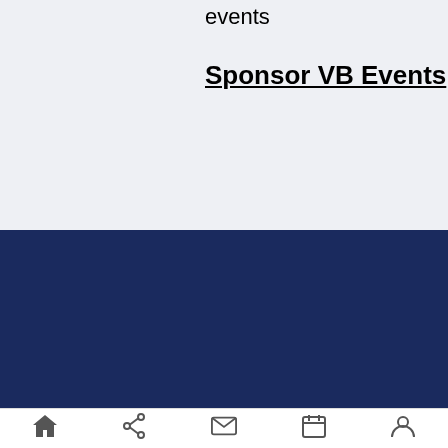events
Sponsor VB Events
[Figure (logo): VentureBeats VB logo in white and red on dark navy background]
[Figure (infographic): Social media icons: Facebook (f), Twitter (bird), LinkedIn (in), RSS feed]
VB Lab
Briefings
Events
Special Issue
Product Comparisons
Mobile bottom navigation bar with home, share, mail, calendar, and user icons